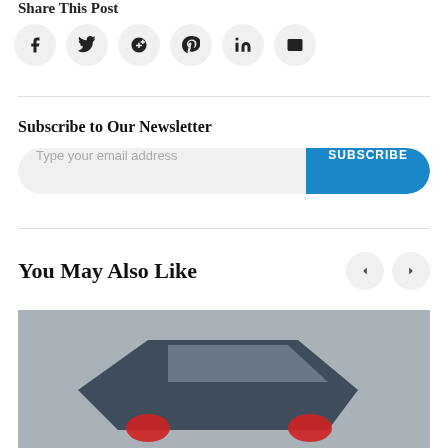Share This Post
[Figure (infographic): Row of six social media share icon circles: Facebook, Twitter, Google+, Pinterest, LinkedIn, Email]
Subscribe to Our Newsletter
Type your email address [input field] SUBSCRIBE [button]
You May Also Like
[Figure (photo): Photo of a vehicle or object on a grey background with red and dark blue colors visible, cropped]